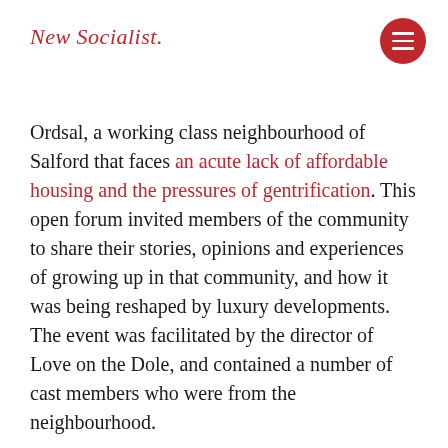New Socialist.
Ordsal, a working class neighbourhood of Salford that faces an acute lack of affordable housing and the pressures of gentrification. This open forum invited members of the community to share their stories, opinions and experiences of growing up in that community, and how it was being reshaped by luxury developments. The event was facilitated by the director of Love on the Dole, and contained a number of cast members who were from the neighbourhood.
We believe that the community play contains within it the potential for radical political intervention. Since its inception, SCT has sought to depart from the idea of community theatre as